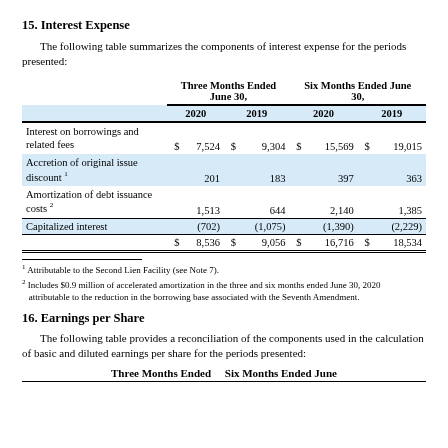15. Interest Expense
The following table summarizes the components of interest expense for the periods presented:
|  |  | Three Months Ended June 30, |  | Six Months Ended June 30, |  |
| --- | --- | --- | --- | --- | --- |
| Interest on borrowings and related fees | $ | 7,524 | $ | 9,304 | $ | 15,569 | $ | 19,015 |
| Accretion of original issue discount 1 |  | 201 |  | 183 |  | 397 |  | 363 |
| Amortization of debt issuance costs 2 |  | 1,513 |  | 644 |  | 2,140 |  | 1,385 |
| Capitalized interest |  | (702) |  | (1,075) |  | (1,390) |  | (2,229) |
|  | $ | 8,536 | $ | 9,056 | $ | 16,716 | $ | 18,534 |
1 Attributable to the Second Lien Facility (see Note 7).
2 Includes $0.9 million of accelerated amortization in the three and six months ended June 30, 2020 attributable to the reduction in the borrowing base associated with the Seventh Amendment.
16. Earnings per Share
The following table provides a reconciliation of the components used in the calculation of basic and diluted earnings per share for the periods presented:
Three Months Ended    Six Months Ended June